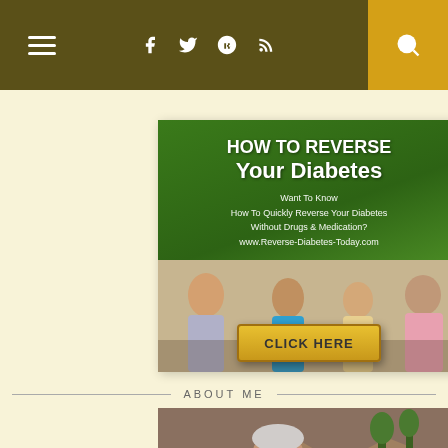Navigation bar with menu, social icons (Facebook, Twitter, Google+, RSS), and search
[Figure (infographic): Advertisement banner: HOW TO REVERSE Your Diabetes - Want To Know How To Quickly Reverse Your Diabetes Without Drugs & Medication? www.Reverse-Diabetes-Today.com - with family photo and CLICK HERE button]
ABOUT ME
[Figure (photo): Portrait photo of an older man outdoors with rocky mountain background]